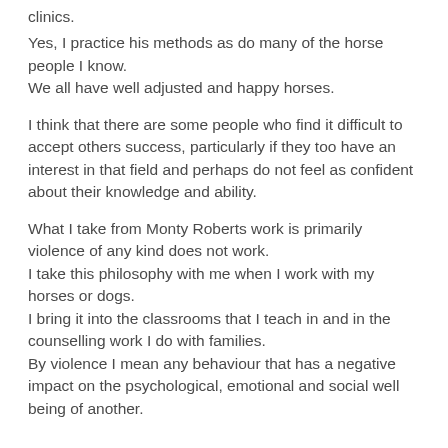clinics.
Yes, I practice his methods as do many of the horse people I know.
We all have well adjusted and happy horses.
I think that there are some people who find it difficult to accept others success, particularly if they too have an interest in that field and perhaps do not feel as confident about their knowledge and ability.
What I take from Monty Roberts work is primarily violence of any kind does not work.
I take this philosophy with me when I work with my horses or dogs.
I bring it into the classrooms that I teach in and in the counselling work I do with families.
By violence I mean any behaviour that has a negative impact on the psychological, emotional and social well being of another.